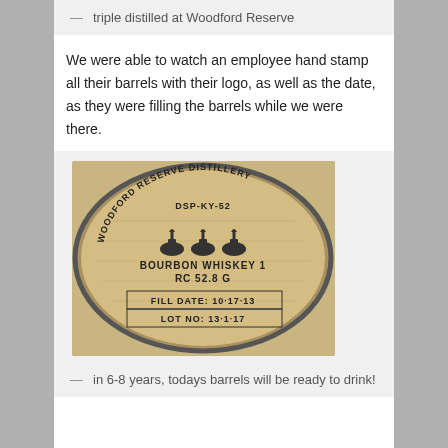— triple distilled at Woodford Reserve
We were able to watch an employee hand stamp all their barrels with their logo, as well as the date, as they were filling the barrels while we were there.
[Figure (photo): Close-up photo of a wooden barrel end stamped with WOODFORD RESERVE DISTILLERY DSP-KY-52, three pot still icons, BOURBON WHISKEY 1, RC 52.8 G, FILL DATE: 10-17-13, LOT NO: 13-1-17]
— in 6-8 years, todays barrels will be ready to drink!